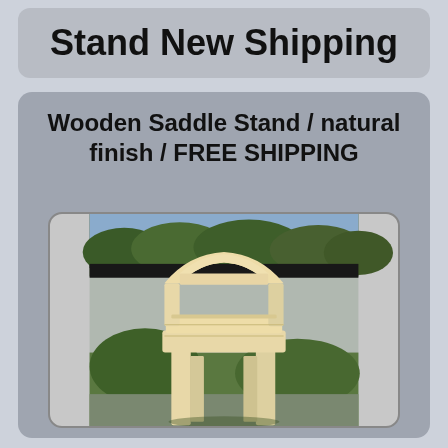Stand New Shipping
Wooden Saddle Stand / natural finish / FREE SHIPPING
[Figure (photo): A wooden saddle stand with natural finish, unfinished light wood, arch-shaped top, standing on four legs, photographed outdoors with green hedges and a dark fence in the background.]